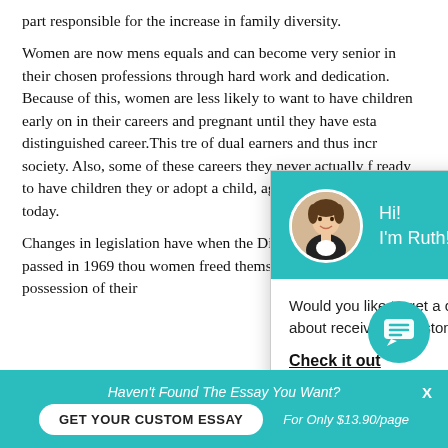part responsible for the increase in family diversity.
Women are now mens equals and can become very senior in their chosen professions through hard work and dedication. Because of this, women are less likely to want to have children early on in their careers and pregnant until they have established a distinguished career.This trend of dual earners and thus increasing society. Also, some of these careers they never actually feel ready to have children they adopt a child, again widening society today.
Changes in legislation have when the Divorce Reform Act was passed in 1969 thou women freed themselves from the possession of their
[Figure (screenshot): Chat popup with avatar of woman named Ruth, teal header, body text asking about custom essay, and 'Check it out' link]
[Figure (infographic): Teal circular chat icon button in bottom right]
[Figure (infographic): Bottom teal bar with 'Haven't Found The Essay You Want?' text, 'GET YOUR CUSTOM ESSAY' button, 'For Only $13.90/page' text, and X close button]